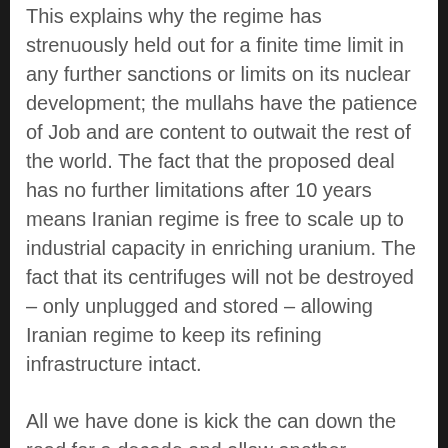This explains why the regime has strenuously held out for a finite time limit in any further sanctions or limits on its nuclear development; the mullahs have the patience of Job and are content to outwait the rest of the world. The fact that the proposed deal has no further limitations after 10 years means Iranian regime is free to scale up to industrial capacity in enriching uranium. The fact that its centrifuges will not be destroyed – only unplugged and stored – allowing Iranian regime to keep its refining infrastructure intact.
All we have done is kick the can down the road for a decade and allow another administration and Congress to deal with the mess.
Oddly enough, those elected officials